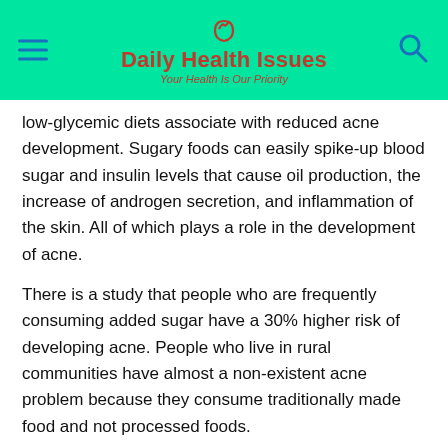Daily Health Issues — Your Health Is Our Priority
low-glycemic diets associate with reduced acne development. Sugary foods can easily spike-up blood sugar and insulin levels that cause oil production, the increase of androgen secretion, and inflammation of the skin. All of which plays a role in the development of acne.
There is a study that people who are frequently consuming added sugar have a 30% higher risk of developing acne. People who live in rural communities have almost a non-existent acne problem because they consume traditionally made food and not processed foods.
3. Sugar reduction can create stable energy levels and mood
Sugar spikes up your sugar level that boosts your mood and